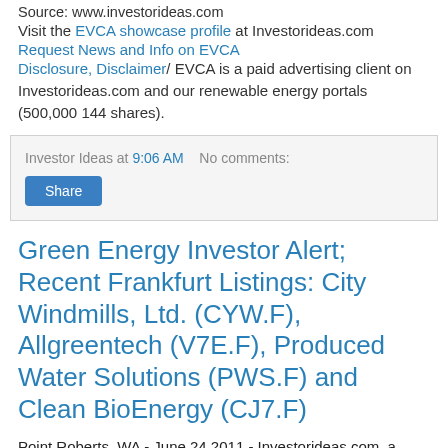Source: www.investorideas.com
Visit the EVCA showcase profile at Investorideas.com
Request News and Info on EVCA
Disclosure, Disclaimer/ EVCA is a paid advertising client on Investorideas.com and our renewable energy portals (500,000 144 shares).
Investor Ideas at 9:06 AM   No comments:
Share
Green Energy Investor Alert; Recent Frankfurt Listings: City Windmills, Ltd. (CYW.F), Allgreentech (V7E.F), Produced Water Solutions (PWS.F) and Clean BioEnergy (CJ7.F)
Point Roberts, WA - June 24 2011 - Investorideas.com, a leader in cleantech investor research issues an investor